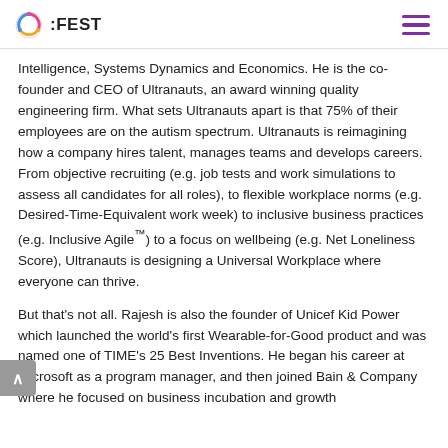FEST
Intelligence, Systems Dynamics and Economics. He is the co-founder and CEO of Ultranauts, an award winning quality engineering firm. What sets Ultranauts apart is that 75% of their employees are on the autism spectrum. Ultranauts is reimagining how a company hires talent, manages teams and develops careers. From objective recruiting (e.g. job tests and work simulations to assess all candidates for all roles), to flexible workplace norms (e.g. Desired-Time-Equivalent work week) to inclusive business practices (e.g. Inclusive Agile™) to a focus on wellbeing (e.g. Net Loneliness Score), Ultranauts is designing a Universal Workplace where everyone can thrive.
But that's not all. Rajesh is also the founder of Unicef Kid Power which launched the world's first Wearable-for-Good product and was named one of TIME's 25 Best Inventions. He began his career at Microsoft as a program manager, and then joined Bain & Company where he focused on business incubation and growth